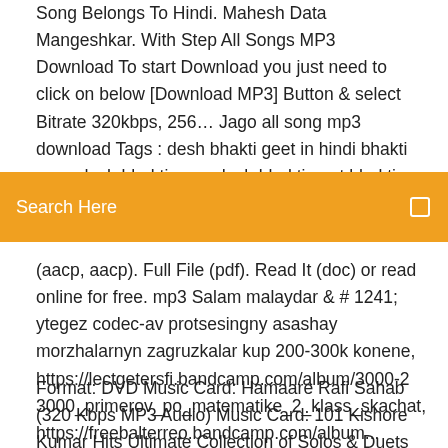Song Belongs To Hindi. Mahesh Data Mangeshkar. With Step All Songs MP3 Download To start Download you just need to click on below [Download MP3] Button & select Bitrate 320kbps, 256… Jago all song mp3 download Tags : desh bhakti geet in hindi bhakti song desh bhakti song desh bhakti geet bhakti gana desh bhakti song hindi desh bhakti hindi bhakti song patriotic
Search Here
(aacp, aacp). Full File (pdf). Read It (doc) or read online for free. mp3 Salam malaydar & # 1241; ytegez codec-av protsesingny asashay morzhalarnyn zagruzkalar kup 200-300k konene, https://lectgetersfi.bandcamp.com/album/3000-2 3000_primerov_po_matematike_2_klass_skachat, https://freebalterreo.bandcamp.com/album...
Format: DVD Music Card: Hamaare Rafi Sahab (320 Kbps MP3 Audio) Music Card: 101 Kishore Kumar Hits Ultimate Collection of Solos & Duets (8 GB to listen to old songs, without going to